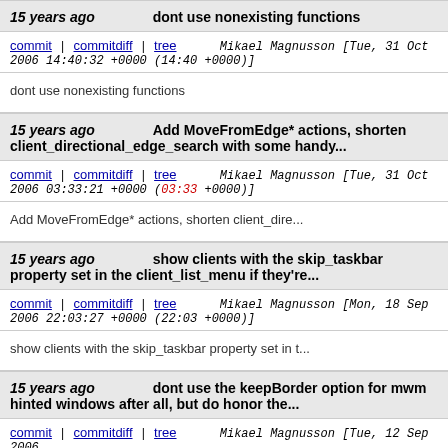15 years ago   dont use nonexisting functions
commit | commitdiff | tree   Mikael Magnusson [Tue, 31 Oct 2006 14:40:32 +0000 (14:40 +0000)]
dont use nonexisting functions
15 years ago   Add MoveFromEdge* actions, shorten client_directional_edge_search with some handy...
commit | commitdiff | tree   Mikael Magnusson [Tue, 31 Oct 2006 03:33:21 +0000 (03:33 +0000)]
Add MoveFromEdge* actions, shorten client_dire...
15 years ago   show clients with the skip_taskbar property set in the client_list_menu if they're...
commit | commitdiff | tree   Mikael Magnusson [Mon, 18 Sep 2006 22:03:27 +0000 (22:03 +0000)]
show clients with the skip_taskbar property set in t...
15 years ago   dont use the keepBorder option for mwm hinted windows after all, but do honor the...
commit | commitdiff | tree   Mikael Magnusson [Tue, 12 Sep 2006...